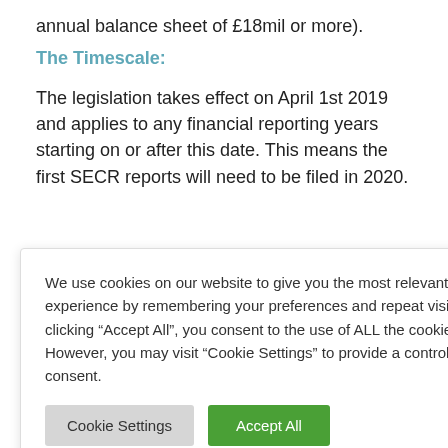annual balance sheet of £18mil or more).
The Timescale:
The legislation takes effect on April 1st 2019 and applies to any financial reporting years starting on or after this date. This means the first SECR reports will need to be filed in 2020.
We use cookies on our website to give you the most relevant experience by remembering your preferences and repeat visits. By clicking "Accept All", you consent to the use of ALL the cookies. However, you may visit "Cookie Settings" to provide a controlled consent.
rience in the
iG data.
nagement
eam of expert
very of your
ind help you
ader ESG
strategy that will maximise value from the SECR